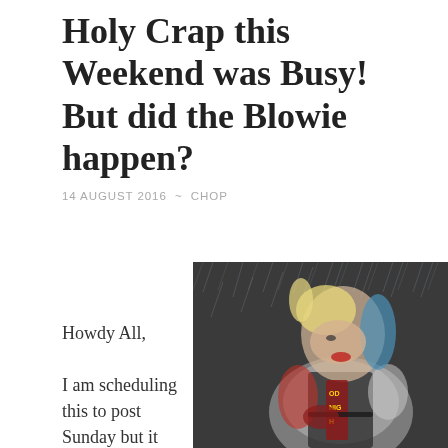Holy Crap this Weekend was Busy! But did the Blowie happen?
14 AUGUST 2016  ~  CHOP
Howdy All,

I am scheduling this to post Sunday but it should fairly
[Figure (photo): Photo of a woman dressed as Harley Quinn costume character with blonde and blue pigtails, wearing a red and white t-shirt and black vest with decorative elements, holding something, in the rain. The vest has text reading 'OD NIGH'.]